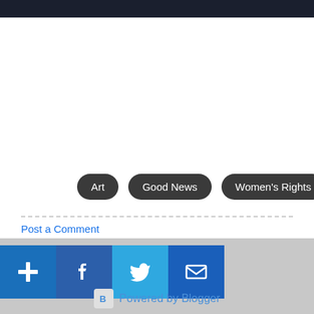[Figure (screenshot): Dark navy header bar at top of page]
Art
Good News
Women's Rights
Post a Comment
[Figure (infographic): Social sharing buttons row: Add (+), Facebook, Twitter, Email — all blue square icons]
Powered by Blogger